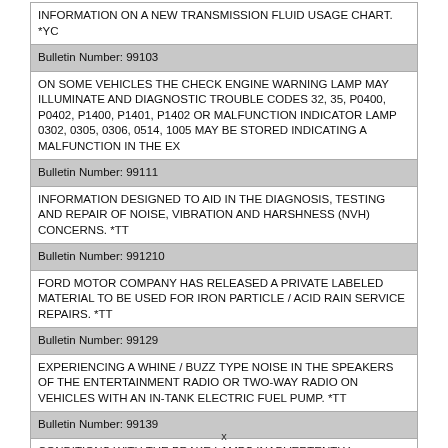| INFORMATION ON A NEW TRANSMISSION FLUID USAGE CHART. *YC |
| Bulletin Number: 99103 |
| ON SOME VEHICLES THE CHECK ENGINE WARNING LAMP MAY ILLUMINATE AND DIAGNOSTIC TROUBLE CODES 32, 35, P0400, P0402, P1400, P1401, P1402 OR MALFUNCTION INDICATOR LAMP 0302, 0305, 0306, 0514, 1005 MAY BE STORED INDICATING A MALFUNCTION IN THE EX |
| Bulletin Number: 99111 |
| INFORMATION DESIGNED TO AID IN THE DIAGNOSIS, TESTING AND REPAIR OF NOISE, VIBRATION AND HARSHNESS (NVH) CONCERNS. *TT |
| Bulletin Number: 991210 |
| FORD MOTOR COMPANY HAS RELEASED A PRIVATE LABELED MATERIAL TO BE USED FOR IRON PARTICLE / ACID RAIN SERVICE REPAIRS. *TT |
| Bulletin Number: 99129 |
| EXPERIENCING A WHINE / BUZZ TYPE NOISE IN THE SPEAKERS OF THE ENTERTAINMENT RADIO OR TWO-WAY RADIO ON VEHICLES WITH AN IN-TANK ELECTRIC FUEL PUMP. *TT |
| Bulletin Number: 99139 |
| CONDITIONS WITH THE BRAKE LAMPS INADVERTENTLY DISABLING THE BRAKE SHIFT INTERLOCK. *TT |
x